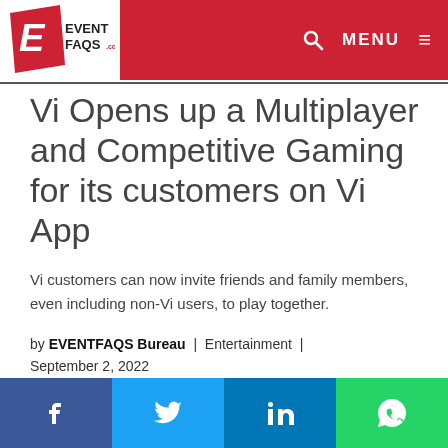EVENTFAQS.com | MENU
Vi Opens up a Multiplayer and Competitive Gaming for its customers on Vi App
Vi customers can now invite friends and family members, even including non-Vi users, to play together.
by EVENTFAQS Bureau | Entertainment | September 2, 2022
Facebook | Twitter | LinkedIn | WhatsApp